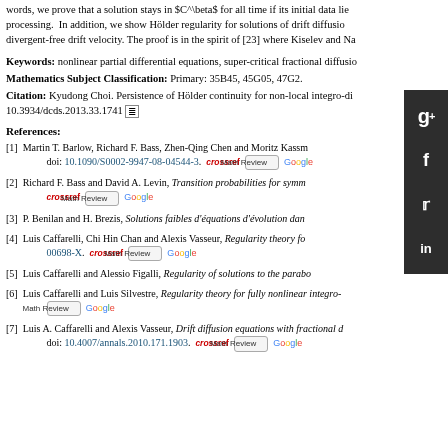words, we prove that a solution stays in $C^\beta$ for all time if its initial data lies in $C^\beta$ for some $\beta > 0$ related to the order of processing. In addition, we show Hölder regularity for solutions of drift diffusion equations with a divergent-free drift velocity. The proof is in the spirit of [23] where Kiselev and Na...
Keywords: nonlinear partial differential equations, super-critical fractional diffusion, ...
Mathematics Subject Classification: Primary: 35B45, 45G05, 47G2.
Citation: Kyudong Choi. Persistence of Hölder continuity for non-local integro-di... doi:10.3934/dcds.2013.33.1741
References:
[1] Martin T. Barlow, Richard F. Bass, Zhen-Qing Chen and Moritz Kassm... doi: 10.1090/S0002-9947-08-04544-3.
[2] Richard F. Bass and David A. Levin, Transition probabilities for symm...
[3] P. Benilan and H. Brezis, Solutions faibles d'équations d'évolution dan...
[4] Luis Caffarelli, Chi Hin Chan and Alexis Vasseur, Regularity theory fo... 00698-X.
[5] Luis Caffarelli and Alessio Figalli, Regularity of solutions to the parabo...
[6] Luis Caffarelli and Luis Silvestre, Regularity theory for fully nonlinear integro-...
[7] Luis A. Caffarelli and Alexis Vasseur, Drift diffusion equations with fractional d... doi: 10.4007/annals.2010.171.1903.